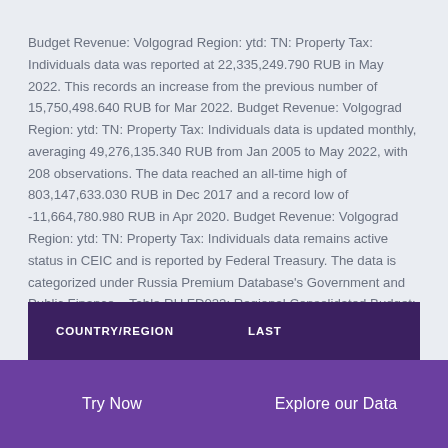Budget Revenue: Volgograd Region: ytd: TN: Property Tax: Individuals data was reported at 22,335,249.790 RUB in May 2022. This records an increase from the previous number of 15,750,498.640 RUB for Mar 2022. Budget Revenue: Volgograd Region: ytd: TN: Property Tax: Individuals data is updated monthly, averaging 49,276,135.340 RUB from Jan 2005 to May 2022, with 208 observations. The data reached an all-time high of 803,147,633.030 RUB in Dec 2017 and a record low of -11,664,780.980 RUB in Apr 2020. Budget Revenue: Volgograd Region: ytd: TN: Property Tax: Individuals data remains active status in CEIC and is reported by Federal Treasury. The data is categorized under Russia Premium Database's Government and Public Finance – Table RU.FD033: Regional Consolidated Budget: ytd: Southern Federal District: Volgograd Region.
| COUNTRY/REGION | LAST |
| --- | --- |
Try Now    Explore our Data